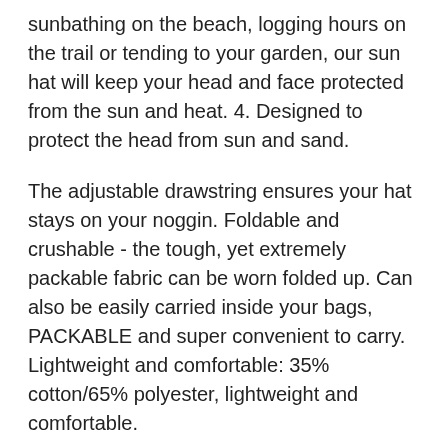sunbathing on the beach, logging hours on the trail or tending to your garden, our sun hat will keep your head and face protected from the sun and heat. 4. Designed to protect the head from sun and sand.
The adjustable drawstring ensures your hat stays on your noggin. Foldable and crushable - the tough, yet extremely packable fabric can be worn folded up. Can also be easily carried inside your bags, PACKABLE and super convenient to carry. Lightweight and comfortable: 35% cotton/65% polyester, lightweight and comfortable.
For the seasons: Spring, gardening, hiking, Autumn. With chin strap: our hat is made with an adjustable chin strap that allows a custom fit and provides extra